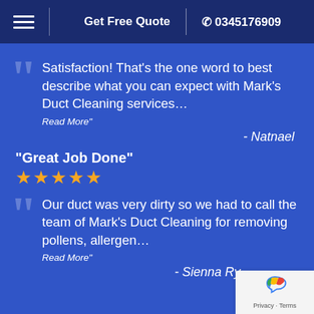Get Free Quote | 0345176909
Satisfaction! That's the one word to best describe what you can expect with Mark's Duct Cleaning services... Read More" - Natnael
"Great Job Done"
★★★★★
Our duct was very dirty so we had to call the team of Mark's Duct Cleaning for removing pollens, allergen... Read More" - Sienna Ry